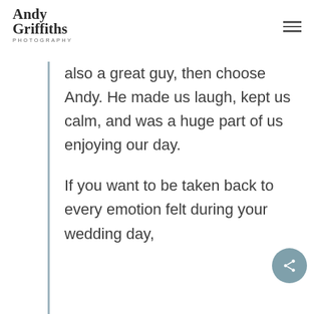Andy Griffiths Photography
also a great guy, then choose Andy. He made us laugh, kept us calm, and was a huge part of us enjoying our day.
If you want to be taken back to every emotion felt during your wedding day,